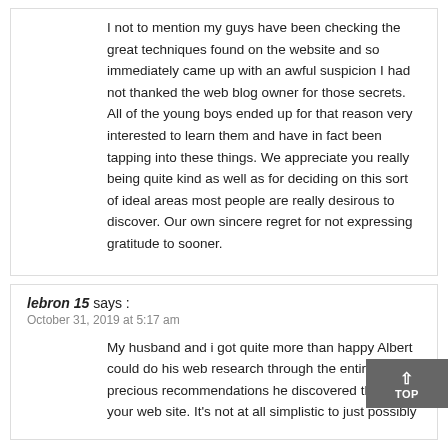I not to mention my guys have been checking the great techniques found on the website and so immediately came up with an awful suspicion I had not thanked the web blog owner for those secrets. All of the young boys ended up for that reason very interested to learn them and have in fact been tapping into these things. We appreciate you really being quite kind as well as for deciding on this sort of ideal areas most people are really desirous to discover. Our own sincere regret for not expressing gratitude to sooner.
lebron 15 says :
October 31, 2019 at 5:17 am
My husband and i got quite more than happy Albert could do his web research through the entire precious recommendations he discovered through your web site. It's not at all simplistic to just possibly